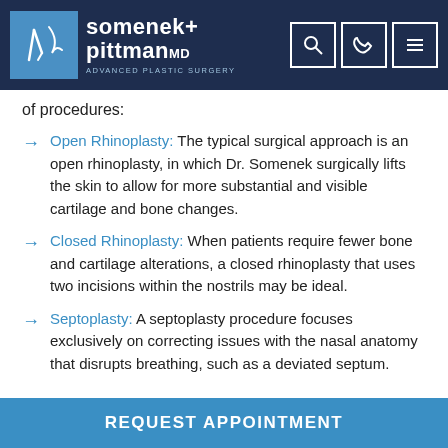[Figure (logo): Somenek + Pittman MD Advanced Plastic Surgery logo with navigation icons]
of procedures:
Open Rhinoplasty: The typical surgical approach is an open rhinoplasty, in which Dr. Somenek surgically lifts the skin to allow for more substantial and visible cartilage and bone changes.
Closed Rhinoplasty: When patients require fewer bone and cartilage alterations, a closed rhinoplasty that uses two incisions within the nostrils may be ideal.
Septoplasty: A septoplasty procedure focuses exclusively on correcting issues with the nasal anatomy that disrupts breathing, such as a deviated septum.
REQUEST APPOINTMENT